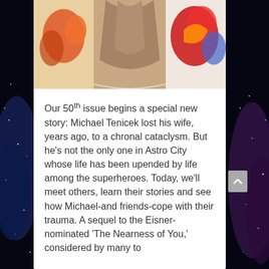[Figure (illustration): Top portion showing comic book artwork with colorful superhero imagery — figures with red and orange tones against a light background]
Our 50th issue begins a special new story: Michael Tenicek lost his wife, years ago, to a chronal cataclysm. But he's not the only one in Astro City whose life has been upended by life among the superheroes. Today, we'll meet others, learn their stories and see how Michael-and friends-cope with their trauma. A sequel to the Eisner-nominated 'The Nearness of You,' considered by many to